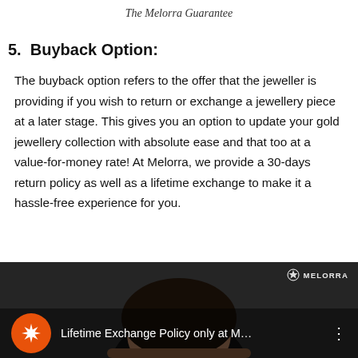The Melorra Guarantee
5. Buyback Option:
The buyback option refers to the offer that the jeweller is providing if you wish to return or exchange a jewellery piece at a later stage. This gives you an option to update your gold jewellery collection with absolute ease and that too at a value-for-money rate! At Melorra, we provide a 30-days return policy as well as a lifetime exchange to make it a hassle-free experience for you.
[Figure (screenshot): YouTube video thumbnail showing a woman with dark hair. Overlay shows Melorra orange logo circle with a star/flower icon, video title 'Lifetime Exchange Policy only at M...', three-dot menu icon, and Melorra watermark top right.]